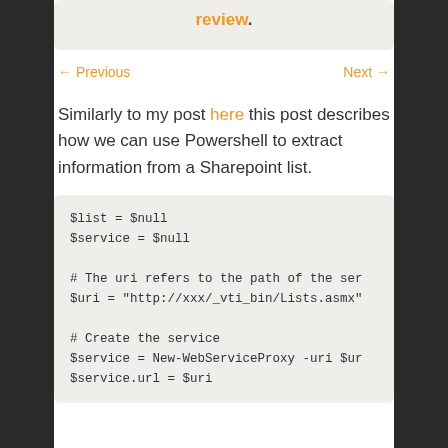please leave us a review.
← Previous   Next →
Similarly to my post here this post describes how we can use Powershell to extract information from a Sharepoint list.
$list = $null
$service = $null

# The uri refers to the path of the ser
$uri = "http://xxx/_vti_bin/Lists.asmx"

# Create the service
$service = New-WebServiceProxy -uri $ur
$service.url = $uri